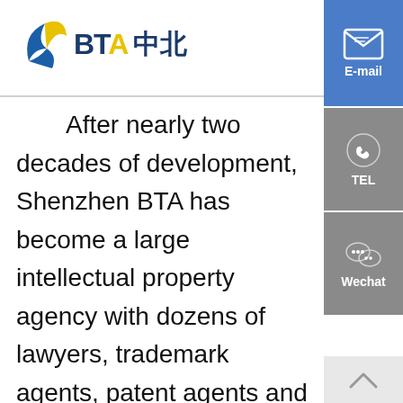[Figure (logo): BTA 中北 company logo with bird/leaf graphic mark in blue and yellow]
[Figure (other): Right sidebar with E-mail, TEL, and Wechat contact buttons in blue and gray]
After nearly two decades of development, Shenzhen BTA has become a large intellectual property agency with dozens of lawyers, trademark agents, patent agents and art designers. It has established long-term and stable business cooperation with law firms in more than 60 countries and regions in the world, and maintained close contact with international and regional intellectual property organizations. In the future, BTA Shenzhen will continue to provide patent, trademark,